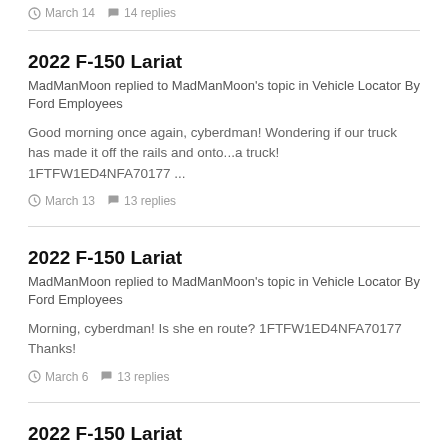March 14   14 replies
2022 F-150 Lariat
MadManMoon replied to MadManMoon's topic in Vehicle Locator By Ford Employees
Good morning once again, cyberdman! Wondering if our truck has made it off the rails and onto...a truck! 1FTFW1ED4NFA70177 ...
March 13   13 replies
2022 F-150 Lariat
MadManMoon replied to MadManMoon's topic in Vehicle Locator By Ford Employees
Morning, cyberdman! Is she en route? 1FTFW1ED4NFA70177 Thanks!
March 6   13 replies
2022 F-150 Lariat